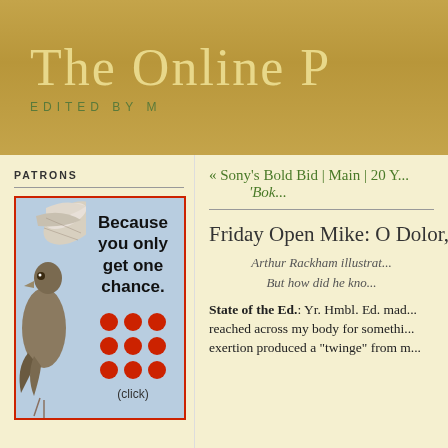The Online P[iano Player] — EDITED BY M[...]
PATRONS
[Figure (illustration): Advertisement banner showing a bird (grouse or similar) with text 'Because you only get one chance.' and red polka dots with '(click)' below]
« Sony's Bold Bid | Main | 20 Y... 'Bok...'
Friday Open Mike: O Dolor, O W...
Arthur Rackham illustrat...
But how did he kno...
State of the Ed.: Yr. Hmbl. Ed. mad... reached across my body for somethi... exertion produced a "twinge" from m...